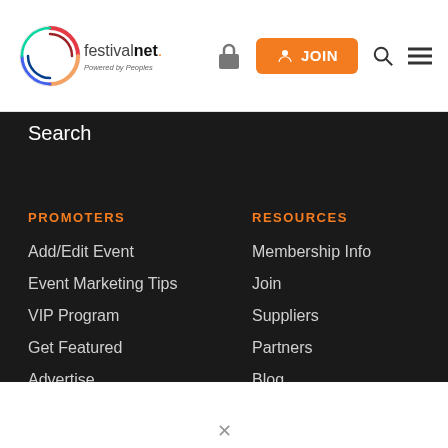[Figure (logo): FestivalNet logo - circular icon with colorful rings, text 'festivalnet.' and 'Powered by Peoples' below]
JOIN
Search
PROMOTERS
Add/Edit Event
Event Marketing Tips
VIP Program
Get Featured
Advertise
RESOURCES
Membership Info
Join
Suppliers
Partners
Blog